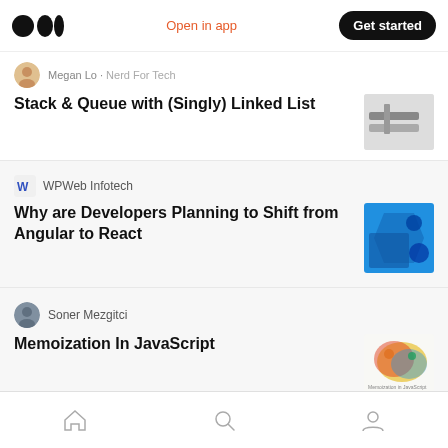Medium — Open in app — Get started
Megan Lo · Nerd For Tech
Stack & Queue with (Singly) Linked List
WPWeb Infotech
Why are Developers Planning to Shift from Angular to React
Soner Mezgitci
Memoization In JavaScript
Sajani Jayasinghe
What is NodeJS and Why we Used ?
Home — Search — Profile